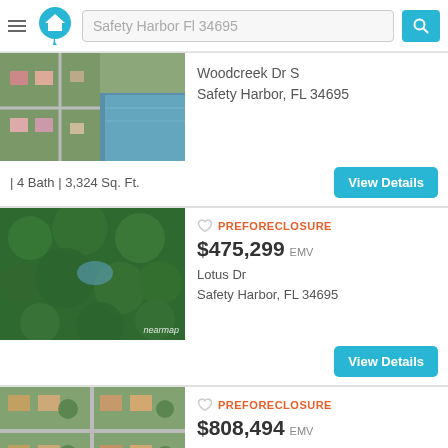Safety Harbor Fl 34695
[Figure (photo): Aerial satellite view of residential area near water, Woodcreek Dr S, Safety Harbor FL]
Woodcreek Dr S
Safety Harbor, FL 34695
| 4 Bath | 3,324 Sq. Ft.
View Details
[Figure (photo): Aerial satellite view of dense tree/forest area, Lotus Dr, Safety Harbor FL (nearmap)]
PREFORECLOSURE
$475,299 EMV
Lotus Dr
Safety Harbor, FL 34695
View Details
[Figure (photo): Aerial satellite view of residential neighborhood, Huntington Blvd, Safety Harbor FL]
PREFORECLOSURE
$808,494 EMV
Huntington Blvd